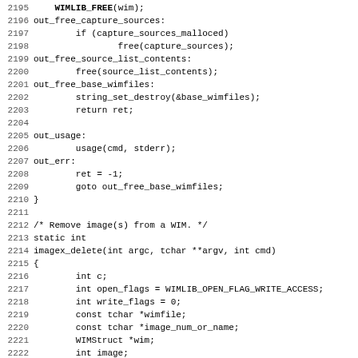[Figure (screenshot): Source code listing in C showing lines 2195-2227 of a program. Includes labels like out_free_capture_sources, out_free_source_list_contents, out_free_base_wimfiles, out_usage, out_err, closing brace, a comment about removing images from a WIM, and the start of the imagex_delete function with variable declarations and a for_opt loop.]